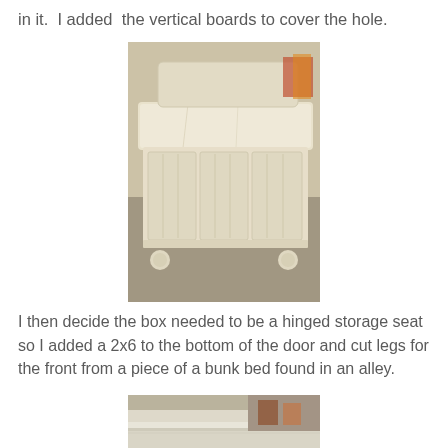in it.  I added  the vertical boards to cover the hole.
[Figure (photo): A distressed white painted wooden storage bench with vertical board panel front, curved feet/legs, and a lift-up seat lid, photographed in a room with carpet flooring.]
I then decide the box needed to be a hinged storage seat so I added a 2x6 to the bottom of the door and cut legs for the front from a piece of a bunk bed found in an alley.
[Figure (photo): Close-up photo showing the interior/underside of the storage bench, with wooden boards and a hinge mechanism visible, and shoes visible in the background.]